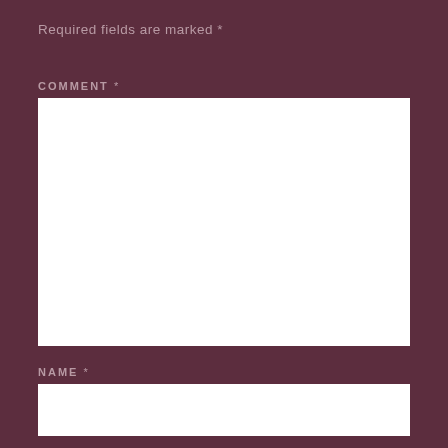Required fields are marked *
COMMENT *
NAME *